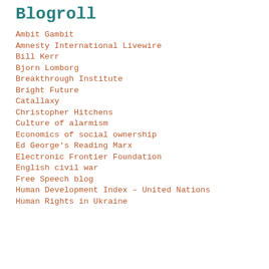Blogroll
Ambit Gambit
Amnesty International Livewire
Bill Kerr
Bjorn Lomborg
Breakthrough Institute
Bright Future
Catallaxy
Christopher Hitchens
Culture of alarmism
Economics of social ownership
Ed George's Reading Marx
Electronic Frontier Foundation
English civil war
Free Speech blog
Human Development Index – United Nations
Human Rights in Ukraine